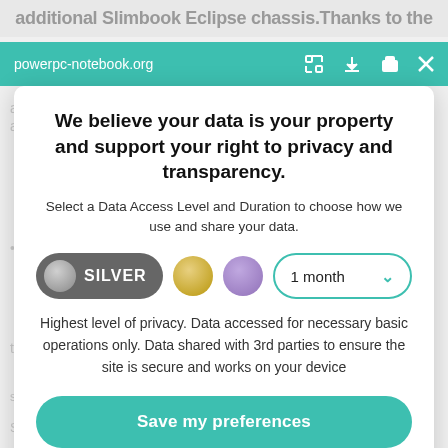additional Slimbook Eclipse chassis.Thanks to the
[Figure (screenshot): Teal browser toolbar showing powerpc-notebook.org URL with icons for expand, download, print, and close]
We believe your data is your property and support your right to privacy and transparency.
Select a Data Access Level and Duration to choose how we use and share your data.
[Figure (infographic): Privacy level selector showing Silver toggle pill (active), gold circle, purple circle, and a 1 month dropdown]
Highest level of privacy. Data accessed for necessary basic operations only. Data shared with 3rd parties to ensure the site is secure and works on your device
Save my preferences
Customize   Privacy policy